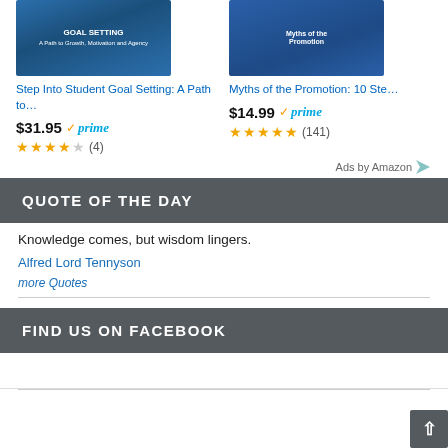[Figure (screenshot): Amazon product ad showing two books: 'Step Into Student Goal Setting: A Path to...' priced at $31.95 with Prime, 3.5 stars (4 reviews); and 'Myths of the Promotion: 10 Ste...' priced at $14.99 with Prime, 4.5 stars (141 reviews). 'Ads by Amazon' label at bottom right.]
QUOTE OF THE DAY
Knowledge comes, but wisdom lingers.
Alfred Lord Tennyson
more Quotes
FIND US ON FACEBOOK